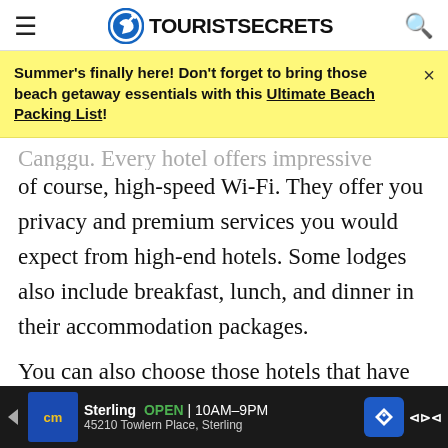TOURIST SECRETS
Summer's finally here! Don't forget to bring those beach getaway essentials with this Ultimate Beach Packing List!
of course, high-speed Wi-Fi. They offer you privacy and premium services you would expect from high-end hotels. Some lodges also include breakfast, lunch, and dinner in their accommodation packages.

You can also choose those hotels that have spas and yoga studios. If you want a more romantic ambiance with your loved one, Canggu also has ma...
Sterling OPEN | 10AM–9PM 45210 Towlern Place, Sterling